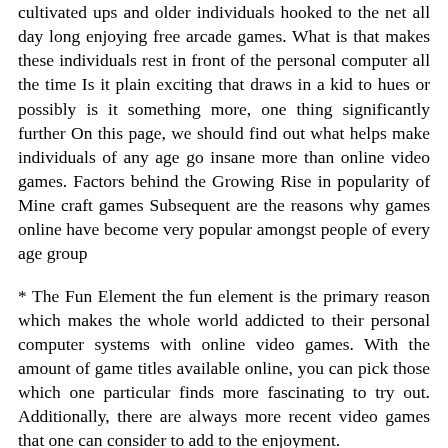cultivated ups and older individuals hooked to the net all day long enjoying free arcade games. What is that makes these individuals rest in front of the personal computer all the time Is it plain exciting that draws in a kid to hues or possibly is it something more, one thing significantly further On this page, we should find out what helps make individuals of any age go insane more than online video games. Factors behind the Growing Rise in popularity of Mine craft games Subsequent are the reasons why games online have become very popular amongst people of every age group
* The Fun Element the fun element is the primary reason which makes the whole world addicted to their personal computer systems with online video games. With the amount of game titles available online, you can pick those which one particular finds more fascinating to try out. Additionally, there are always more recent video games that one can consider to add to the enjoyment.